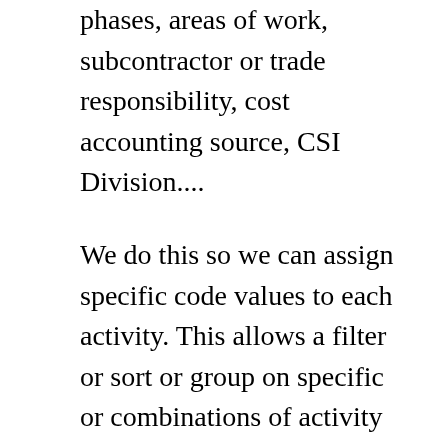phases, areas of work, subcontractor or trade responsibility, cost accounting source, CSI Division....
We do this so we can assign specific code values to each activity. This allows a filter or sort or group on specific or combinations of activity code values. We can filter by trade and sort by start. We can then group by area or phase or building. There are many ways to view the schedule which can make it easier for everyone.
However, often what you find in a progress or owner's meeting is the two or three week look ahead schedule. This is a good tool. But, it is a specific tool. The look ahead schedule layout